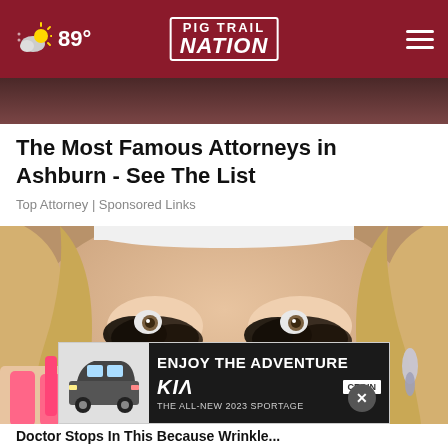Pig Trail Nation | 89°
[Figure (photo): Top image strip showing partial reddish-brown background image]
The Most Famous Attorneys in Ashburn - See The List
Top Attorney | Sponsored Links
[Figure (photo): Close-up photo of a blonde woman with dramatic heavy dark eye makeup/mascara residue under her eyes, applying something near her eye with a pink-nailed finger, wearing a white headband and earrings]
[Figure (photo): Advertisement banner for Kia 2023 Sportage: ENJOY THE ADVENTURE, THE ALL-NEW 2023 SPORTAGE, KIA logo, CRAIN dealer logo]
Doctor Stops In This Because Wrinkle...